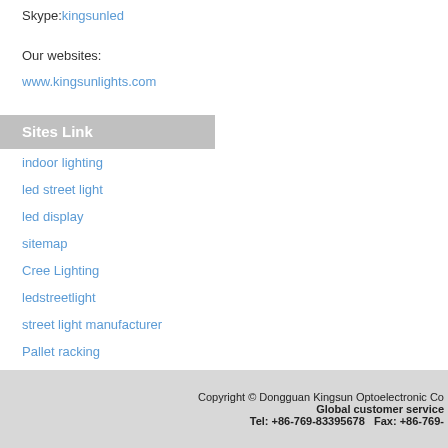Skype:kingsunled
Our websites:
www.kingsunlights.com
Sites Link
indoor lighting
led street light
led display
sitemap
Cree Lighting
ledstreetlight
street light manufacturer
Pallet racking
Copyright © Dongguan Kingsun Optoelectronic Co   Global customer service   Tel: +86-769-83395678   Fax: +86-769-